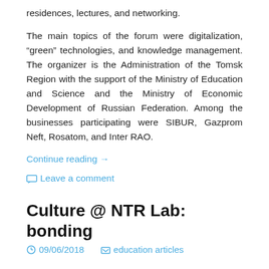residences, lectures, and networking.
The main topics of the forum were digitalization, “green” technologies, and knowledge management. The organizer is the Administration of the Tomsk Region with the support of the Ministry of Education and Science and the Ministry of Economic Development of Russian Federation. Among the businesses participating were SIBUR, Gazprom Neft, Rosatom, and Inter RAO.
Continue reading →
Leave a comment
Culture @ NTR Lab: bonding
09/06/2018   education articles